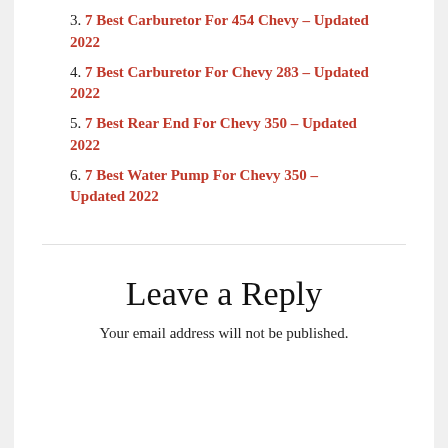3. 7 Best Carburetor For 454 Chevy – Updated 2022
4. 7 Best Carburetor For Chevy 283 – Updated 2022
5. 7 Best Rear End For Chevy 350 – Updated 2022
6. 7 Best Water Pump For Chevy 350 – Updated 2022
Leave a Reply
Your email address will not be published.